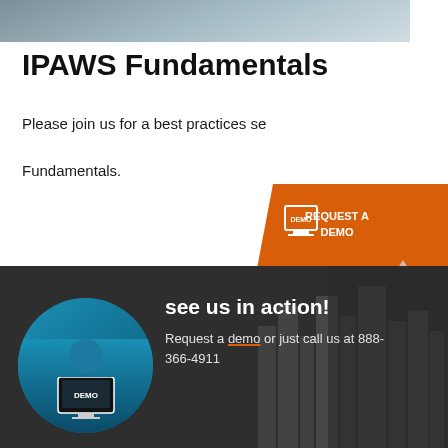[Figure (photo): Partial photo of a person in a dark jacket with hands clasped, cropped at top of page]
IPAWS Fundamentals
Please join us for a best practices se… Fundamentals.
[Figure (other): Orange button with monitor/DEMO icon and text: REQUEST A DEMO]
watch now
[Figure (other): Dark footer section with circular blue image of person at desk with DEMO monitor icon, cityscape background, and text: see us in action! Request a demo or just call us at 888-366-4911]